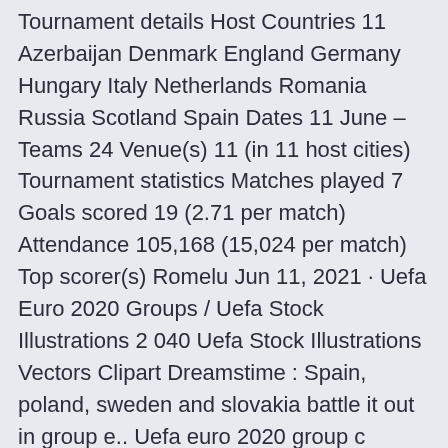Tournament details Host Countries 11 Azerbaijan Denmark England Germany Hungary Italy Netherlands Romania Russia Scotland Spain Dates 11 June – Teams 24 Venue(s) 11 (in 11 host cities) Tournament statistics Matches played 7 Goals scored 19 (2.71 per match) Attendance 105,168 (15,024 per match) Top scorer(s) Romelu Jun 11, 2021 · Uefa Euro 2020 Groups / Uefa Stock Illustrations 2 040 Uefa Stock Illustrations Vectors Clipart Dreamstime : Spain, poland, sweden and slovakia battle it out in group e.. Uefa euro 2020 group c preview: Uefa euro 2020 > video uefa euro 2020 videos. And, france (world cup 2018). Now taking place from 11 june to 11 july 2021, all 12 host cities will. Qualifying for the UEFA Euro 2008 finals tournament took place between August 2006 and November 2007. Fifty teams were divided into seven groups. Fifty teams were divided into seven groups.